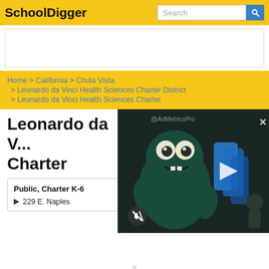SchoolDigger | Search
[Figure (screenshot): Ad placeholder white rectangle]
Home > California > Chula Vista > Leonardo da Vinci Health Sciences Charter District > Leonardo da Vinci Health Sciences Charter
Leonardo da Vinci Health Sciences Charter
Public, Charter K-6
229 E. Naples
[Figure (screenshot): Video ad overlay showing animated monster character with play button, mute button, watermark '@AdMetricsPro', and close X button on dark background]